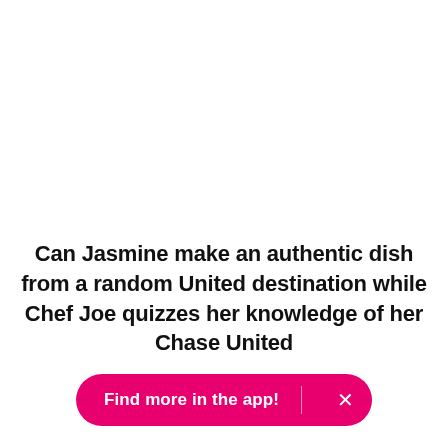Can Jasmine make an authentic dish from a random United destination while Chef Joe quizzes her knowledge of her Chase United
Find more in the app!  ×